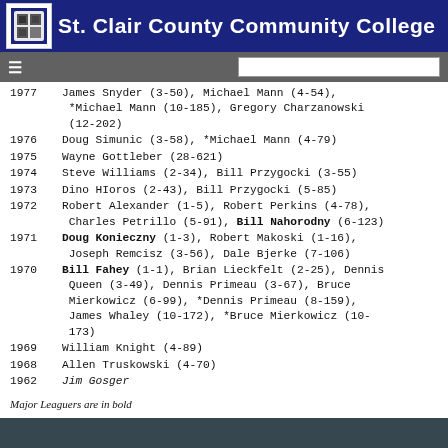St. Clair County Community College
1977  James Snyder (3-50), Michael Mann (4-54), *Michael Mann (10-185), Gregory Charzanowski (12-202)
1976  Doug Simunic (3-58), *Michael Mann (4-79)
1975  Wayne Gottleber (28-621)
1974  Steve Williams (2-34), Bill Przygocki (3-55)
1973  Dino HIoros (2-43), Bill Przygocki (5-85)
1972  Robert Alexander (1-5), Robert Perkins (4-78), Charles Petrillo (5-91), Bill Nahorodny (6-123)
1971  Doug Konieczny (1-3), Robert Makoski (1-16), Joseph Remcisz (3-56), Dale Bjerke (7-106)
1970  Bill Fahey (1-1), Brian Lieckfelt (2-25), Dennis Queen (3-49), Dennis Primeau (3-67), Bruce Mierkowicz (6-99), *Dennis Primeau (8-159), James Whaley (10-172), *Bruce Mierkowicz (10-173)
1969  William Knight (4-89)
1968  Allen Truskowski (4-70)
1962  Jim Gosger
Major Leaguers are in bold
* Indicates unsigned by MLB Team
italics indicate player signed as Undrafted free agent